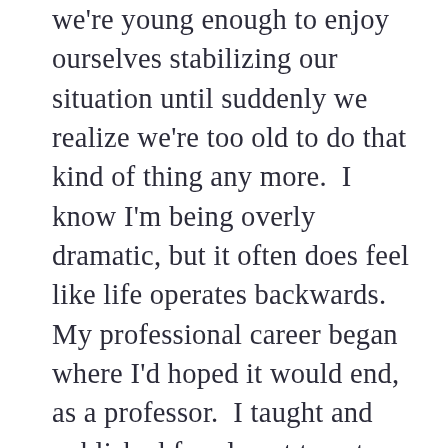we're young enough to enjoy ourselves stabilizing our situation until suddenly we realize we're too old to do that kind of thing any more.  I know I'm being overly dramatic, but it often does feel like life operates backwards.  My professional career began where I'd hoped it would end, as a professor.  I taught and published for almost twenty years and really nobody paid much attention.  At least I had my teaching.  I also had a